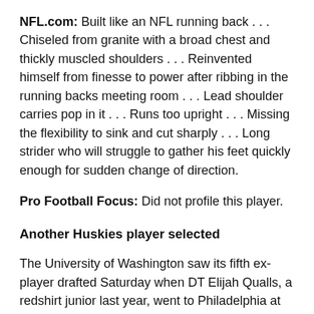NFL.com: Built like an NFL running back . . . Chiseled from granite with a broad chest and thickly muscled shoulders . . . Reinvented himself from finesse to power after ribbing in the running backs meeting room . . . Lead shoulder carries pop in it . . . Runs too upright . . . Missing the flexibility to sink and cut sharply . . . Long strider who will struggle to gather his feet quickly enough for sudden change of direction.
Pro Football Focus: Did not profile this player.
Another Huskies player selected
The University of Washington saw its fifth ex-player drafted Saturday when DT Elijah Qualls, a redshirt junior last year, went to Philadelphia at 214th overall in the sixth round. Other ex-UW players drafted: WR John Ross, first round, Cincinnati; CB Kevin King, second, Green Bay; S Budda Baker, second,